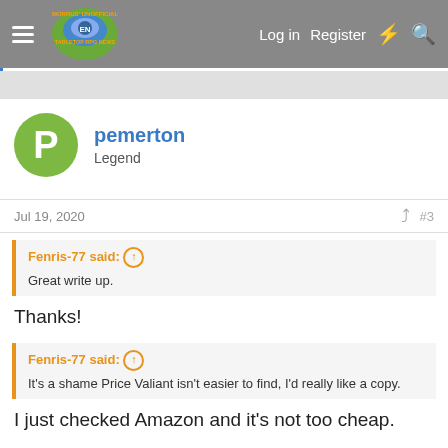Morrus' Unofficial Tabletop RPG News — Log in | Register
pemerton
Legend
Jul 19, 2020
#3
Fenris-77 said: ⬆
Great write up.
Thanks!
Fenris-77 said: ⬆
It's a shame Price Valiant isn't easier to find, I'd really like a copy.
I just checked Amazon and it's not too cheap.